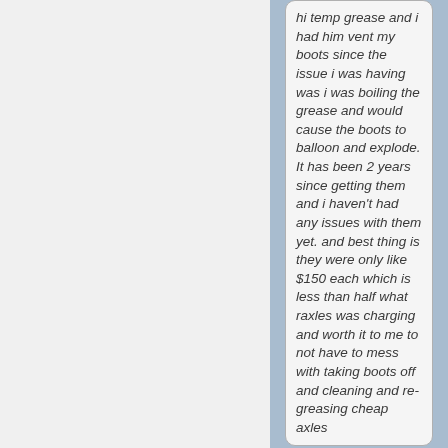hi temp grease and i had him vent my boots since the issue i was having was i was boiling the grease and would cause the boots to balloon and explode. It has been 2 years since getting them and i haven't had any issues with them yet. and best thing is they were only like $150 each which is less than half what raxles was charging and worth it to me to not have to mess with taking boots off and cleaning and re-greasing cheap axles